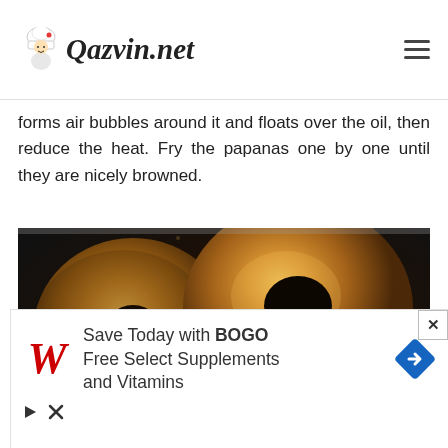Qazvin.net
forms air bubbles around it and floats over the oil, then reduce the heat. Fry the papanas one by one until they are nicely browned.
[Figure (photo): Papanas frying in hot oil in a dark pan, showing three round donut-shaped papanas in various stages of browning, with oil bubbling around them.]
Save Today with BOGO Free Select Supplements and Vitamins